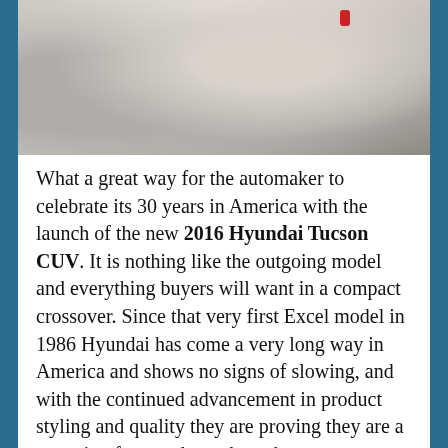[Figure (photo): Interior photo of a car showing light-colored leather seats and seatbelt hardware, cropped at the top of the page]
What a great way for the automaker to celebrate its 30 years in America with the launch of the new 2016 Hyundai Tucson CUV. It is nothing like the outgoing model and everything buyers will want in a compact crossover. Since that very first Excel model in 1986 Hyundai has come a very long way in America and shows no signs of slowing, and with the continued advancement in product styling and quality they are proving they are a motoring force to be reckoned.